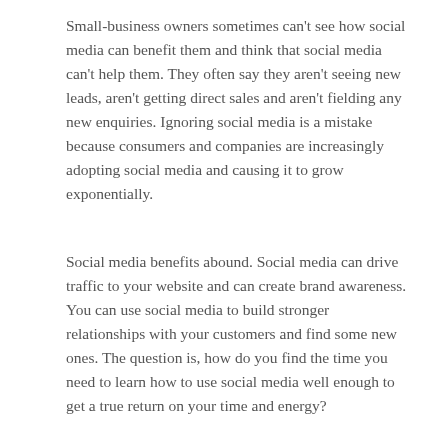Small-business owners sometimes can't see how social media can benefit them and think that social media can't help them. They often say they aren't seeing new leads, aren't getting direct sales and aren't fielding any new enquiries. Ignoring social media is a mistake because consumers and companies are increasingly adopting social media and causing it to grow exponentially.
Social media benefits abound. Social media can drive traffic to your website and can create brand awareness. You can use social media to build stronger relationships with your customers and find some new ones. The question is, how do you find the time you need to learn how to use social media well enough to get a true return on your time and energy?
Solve Your Social Media Problems
The most important first step in solving your social media